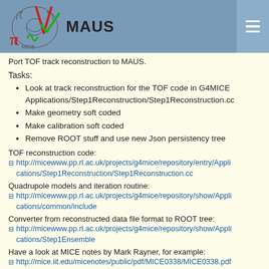MAUS
Port TOF track reconstruction to MAUS.
Tasks:
Look at track reconstruction for the TOF code in G4MICE Applications/Step1Reconstruction/Step1Reconstruction.cc
Make geometry soft coded
Make calibration soft coded
Remove ROOT stuff and use new Json persistency tree
TOF reconstruction code:
http://micewww.pp.rl.ac.uk/projects/g4mice/repository/entry/Applications/Step1Reconstruction/Step1Reconstruction.cc
Quadrupole models and iteration routine:
http://micewww.pp.rl.ac.uk/projects/g4mice/repository/show/Applications/common/include
Converter from reconstructed data file format to ROOT tree:
http://micewww.pp.rl.ac.uk/projects/g4mice/repository/show/Applications/Step1Ensemble
Have a look at MICE notes by Mark Rayner, for example:
http://mice.iit.edu/micenotes/public/pdf/MICE0338/MICE0338.pdf